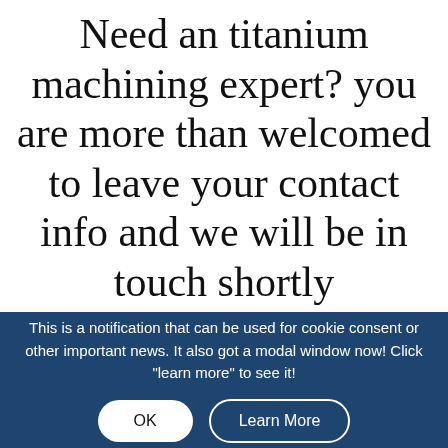Need an titanium machining expert? you are more than welcomed to leave your contact info and we will be in touch shortly
This is a notification that can be used for cookie consent or other important news. It also got a modal window now! Click "learn more" to see it!